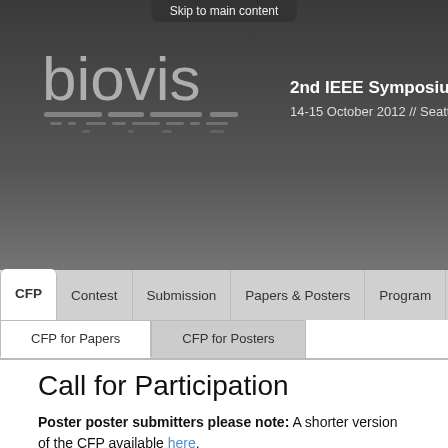Skip to main content
[Figure (logo): BioVis logo — stylized lowercase 'biovis' text in light grey with decorative horizontal lines below]
2nd IEEE Symposium on
14-15 October 2012 // Seattle, WA @
CFP | Contest | Submission | Papers & Posters | Program | Regis
CFP for Papers | CFP for Posters
Call for Participation
Poster poster submitters please note: A shorter version of the CFP available here.
(1) Aims and Scope
The rapidly expanding field of biology creates enormous challenges for enabling researchers to gain insight from their large and highly co The goal of the Symposium on Biological Data Visualization (BioVis)